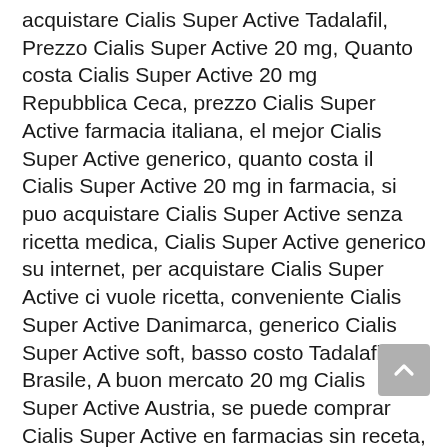acquistare Cialis Super Active Tadalafil, Prezzo Cialis Super Active 20 mg, Quanto costa Cialis Super Active 20 mg Repubblica Ceca, prezzo Cialis Super Active farmacia italiana, el mejor Cialis Super Active generico, quanto costa il Cialis Super Active 20 mg in farmacia, si puo acquistare Cialis Super Active senza ricetta medica, Cialis Super Active generico su internet, per acquistare Cialis Super Active ci vuole ricetta, conveniente Cialis Super Active Danimarca, generico Cialis Super Active soft, basso costo Tadalafil Brasile, A buon mercato 20 mg Cialis Super Active Austria, se puede comprar Cialis Super Active en farmacias sin receta, existe el Cialis Super Active generico, Il costo di Cialis Super Active Tadalafil UK, generico Cialis Super Active italia, generico do Cialis Super Active sollevare, comprare Cialis Super Active senza ricetta farmacia, generico do Cialis Super Active nome, quais os generico do Cialis Super Active, Prezzo basso Cialis Super Active Tadalafil Giappone